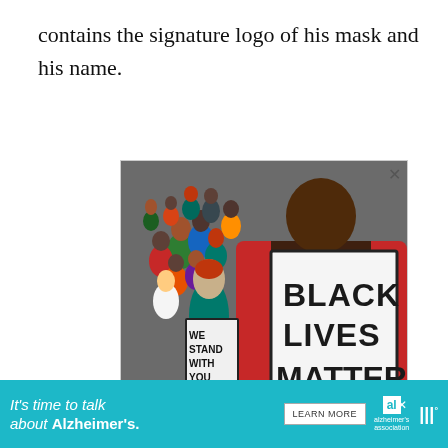contains the signature logo of his mask and his name.
[Figure (illustration): A painting depicting a crowd of diverse people at a protest. A figure in the foreground holds a large white sign reading 'BLACK LIVES MATTER' in bold dark letters. A smaller figure holds a sign reading 'WE STAND WITH YOU'. The background shows colorful painted figures in a crowd.]
[Figure (infographic): Advertisement banner: 'It's time to talk about Alzheimer's.' with a LEARN MORE button, Alzheimer's association logo, and Tubi logo. Close button in top right.]